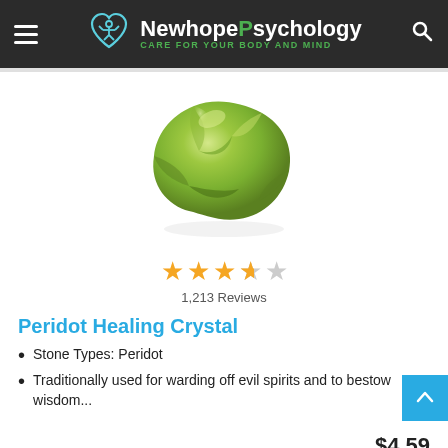NewhopePsychology - CARE FOR YOUR BODY AND MIND
[Figure (photo): A rough peridot healing crystal stone, green-colored, on white background]
★★★★☆ 1,213 Reviews
Peridot Healing Crystal
Stone Types: Peridot
Traditionally used for warding off evil spirits and to bestow wisdom...
$4.59